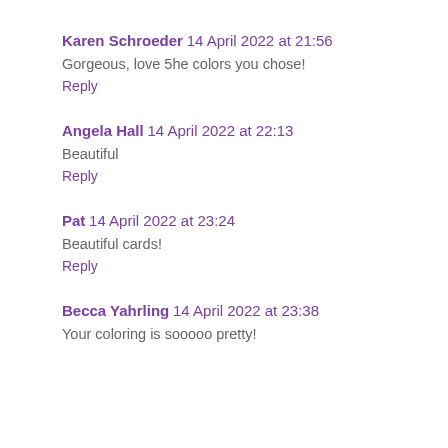Karen Schroeder  14 April 2022 at 21:56
Gorgeous, love 5he colors you chose!
Reply
Angela Hall  14 April 2022 at 22:13
Beautiful
Reply
Pat  14 April 2022 at 23:24
Beautiful cards!
Reply
Becca Yahrling  14 April 2022 at 23:38
Your coloring is sooooo pretty!